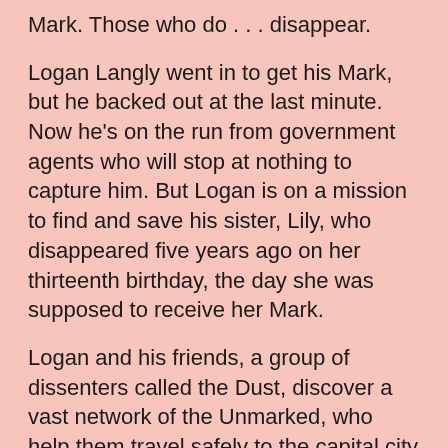Mark. Those who do . . . disappear.
Logan Langly went in to get his Mark, but he backed out at the last minute. Now he's on the run from government agents who will stop at nothing to capture him. But Logan is on a mission to find and save his sister, Lily, who disappeared five years ago on her thirteenth birthday, the day she was supposed to receive her Mark.
Logan and his friends, a group of dissenters called the Dust, discover a vast network of the Unmarked, who help them travel safely to the capital city where Lily is imprisoned. Along the way, the Dust receives some startling information from the Markless community, opening their eyes to the message of Christianity and warning that humanity is now entering the End of Days.
When the Dust finally arrives in the capital, it seems that all their careful planning is useless against a government that will do anything to